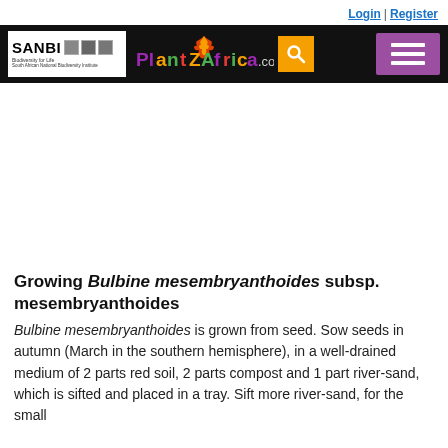Login | Register
[Figure (logo): SANBI PlantZAfrica.com website header with SANBI logo, PlantZAfrica.com logo, search icon, and hamburger menu]
Growing Bulbine mesembryanthoides subsp. mesembryanthoides
Bulbine mesembryanthoides is grown from seed. Sow seeds in autumn (March in the southern hemisphere), in a well-drained medium of 2 parts red soil, 2 parts compost and 1 part river-sand, which is sifted and placed in a tray. Sift more river-sand, for the small